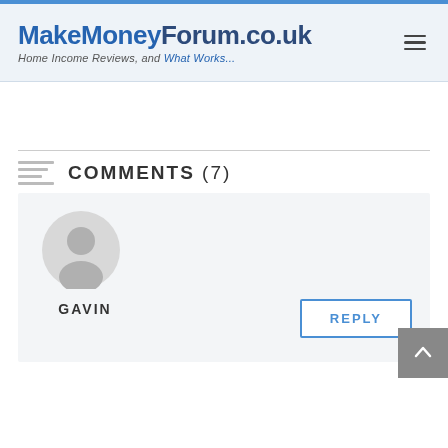MakeMoneyForum.co.uk — Home Income Reviews, and What Works...
COMMENTS (7)
GAVIN
REPLY